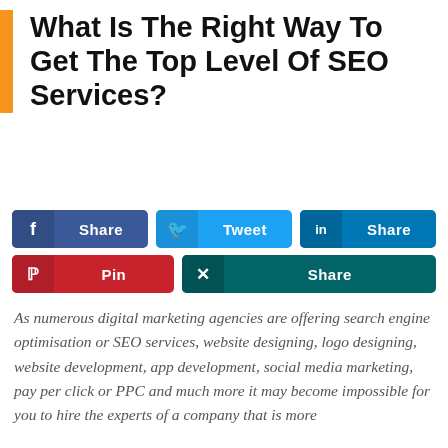What Is The Right Way To Get The Top Level Of SEO Services?
[Figure (infographic): Social sharing buttons row: Facebook Share (blue), Tweet (light blue), LinkedIn Share (dark blue), Pinterest Pin (red), Xing Share (teal)]
As numerous digital marketing agencies are offering search engine optimisation or SEO services, website designing, logo designing, website development, app development, social media marketing, pay per click or PPC and much more it may become impossible for you to hire the experts of a company that is more